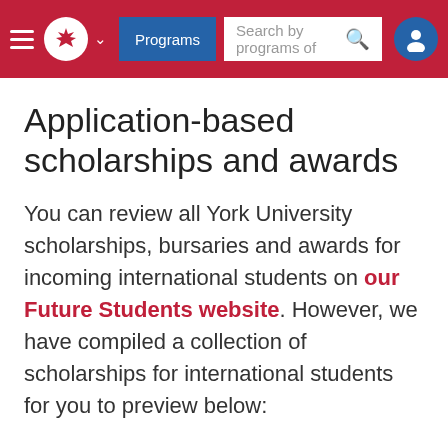Programs | Search by programs of | [navigation bar with hamburger, maple leaf logo, Programs button, search bar, user icon]
Application-based scholarships and awards
You can review all York University scholarships, bursaries and awards for incoming international students on our Future Students website. However, we have compiled a collection of scholarships for international students for you to preview below: